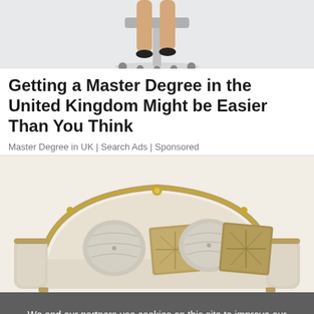[Figure (photo): Partial photo of a person's legs near an office chair, white/light grey background — top portion of advertisement image]
Getting a Master Degree in the United Kingdom Might be Easier Than You Think
Master Degree in UK | Search Ads | Sponsored
[Figure (photo): Luxury cream/beige sofa with ornate gold frame and decorative cushions including round and square pillows in gold/beige tones]
We and our partners use cookies on this site to improve our service, perform analytics, personalize advertising, measure advertising performance, and remember website preferences.
Ok